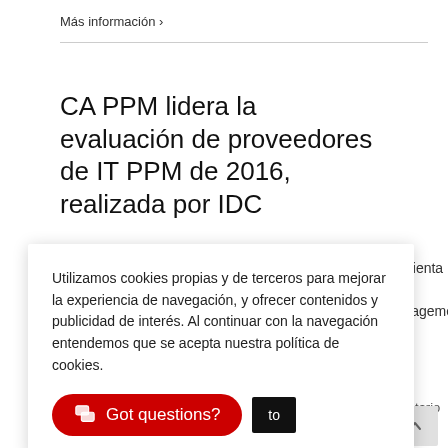Más información >
CA PPM lidera la evaluación de proveedores de IT PPM de 2016, realizada por IDC
Utilizamos cookies propias y de terceros para mejorar la experiencia de navegación, y ofrecer contenidos y publicidad de interés. Al continuar con la navegación entendemos que se acepta nuestra política de cookies.
rramienta de Management,
| 1 comentario
[Figure (other): Got questions? red chat button and a dark button partially visible]
[Figure (other): Back to top arrow button (upward chevron on grey background)]